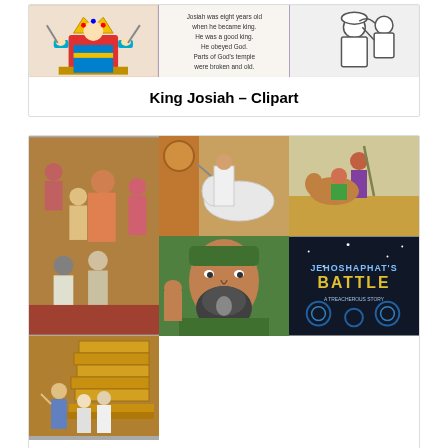[Figure (illustration): Three-panel image strip showing King Josiah clipart: left panel shows a cartoon king on throne, middle panel shows text about Josiah being eight years old when he became king, right panel shows a black and white illustration of people.]
King Josiah – Clipart
[Figure (illustration): Six-panel image grid showing King Jehoshaphat pictures: top-left shows a warrior with horse, center-tall shows a group scene in a palace, top-right shows soldiers with spears, bottom-left shows a bearded man with green headband, bottom-center shows 'Jehoshaphat's Battle' title card, bottom-right shows people before golden stairs/temple.]
King Jehoshaphat – Picture